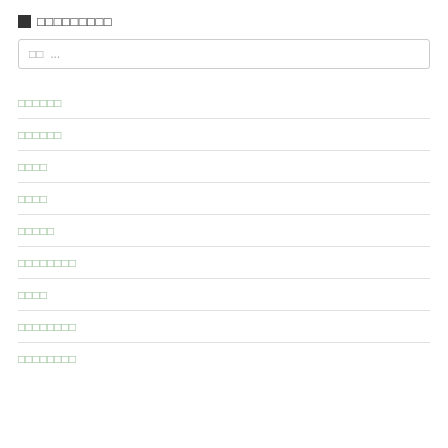■ □□□□□□□□□
□□  ...
□□□□□□
□□□□□□
□□□□
□□□□
□□□□□
□□□□□□□□
□□□□
□□□□□□□□
□□□□□□□□